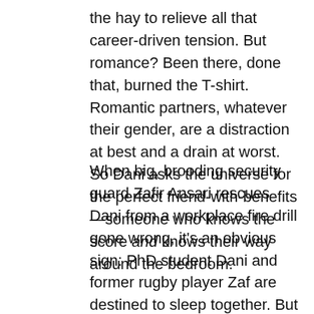the hay to relieve all that career-driven tension. But romance? Been there, done that, burned the T-shirt. Romantic partners, whatever their gender, are a distraction at best and a drain at worst. So Dani asks the universe for the perfect friend-with-benefits—someone who knows the score and knows their way around the bedroom.
When big, brooding security guard Zafir Ansari rescues Dani from a workplace fire drill gone wrong, it's an obvious sign: PhD student Dani and former rugby player Zaf are destined to sleep together. But before she can explain that fact to him, a video of the heroic rescue goes viral. Suddenly, half the internet is shipping #DrRugbae—and Zaf is begging Dani to play along. Turns out his sports charity for kids could